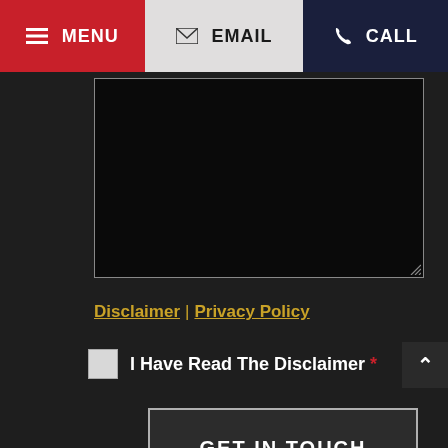≡ MENU | ✉ EMAIL | ✆ CALL
[Figure (screenshot): Dark textarea input box for message entry]
Disclaimer | Privacy Policy
I Have Read The Disclaimer *
GET IN TOUCH